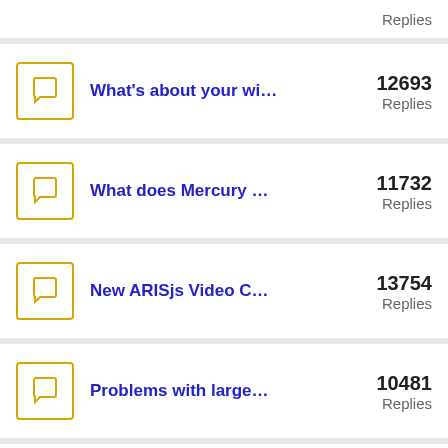(partial) Replies
What's about your wi... 12693 Replies
What does Mercury ... 11732 Replies
New ARISjs Video C... 13754 Replies
Problems with large... 10481 Replies
Location based and ... 10819 Replies